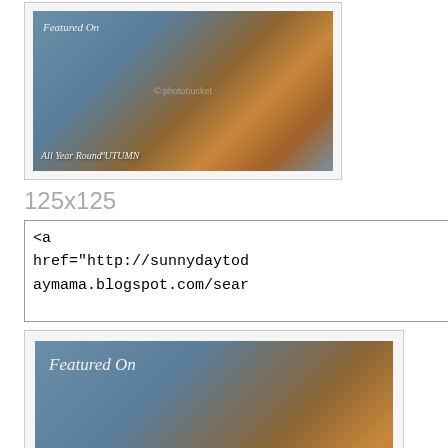[Figure (photo): Blog badge image showing autumn mushrooms on blue floral fabric with text 'Featured On All Year Round AUTUMN', small version, framed]
125x125
<a
href="http://sunnydaytod
aymama.blogspot.com/sear
[Figure (photo): Blog badge image showing autumn mushrooms on blue floral fabric with text 'Featured On All Year Round AUTUMN', larger version, framed]
150x150
<a